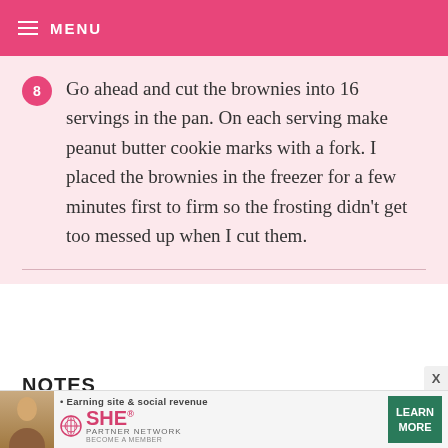MENU
8 Go ahead and cut the brownies into 16 servings in the pan. On each serving make peanut butter cookie marks with a fork. I placed the brownies in the freezer for a few minutes first to firm so the frosting didn't get too messed up when I cut them.
NOTES
I baked these for 32 minutes but they really needed a few more for the center to be completely done. So to avoid the top turning too brown, place a sheet of aluminum over the pan about halfway through
[Figure (other): Advertisement banner for SHE Media Partner Network with woman photo, text 'Earning site & social revenue', SHE logo, 'PARTNER NETWORK', 'BECOME A MEMBER', and green 'LEARN MORE' button]